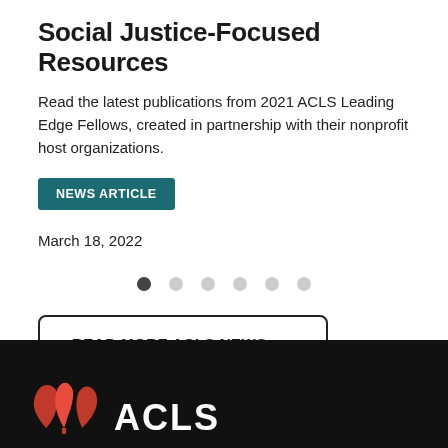Social Justice-Focused Resources
Read the latest publications from 2021 ACLS Leading Edge Fellows, created in partnership with their nonprofit host organizations.
NEWS ARTICLE
March 18, 2022
[Figure (other): Carousel navigation dots: one dark active dot followed by five lighter inactive dots]
READ MORE ACLS NEWS
[Figure (logo): ACLS logo with red maple leaf design on black background footer bar, with partial ACLS wordmark text]